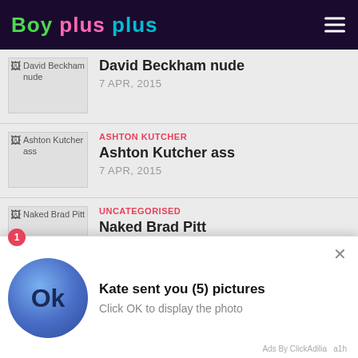Boy plus plus
David Beckham nude
7 APR, 2015
ASHTON KUTCHER
Ashton Kutcher ass
7 APR, 2015
UNCATEGORISED
Naked Brad Pitt
9 APR, 2015
[Figure (screenshot): Notification popup overlay: Kate sent you (5) pictures. Click OK to display the photo. Blue circle with Ok text. Ads By ClickAdilia a1h]